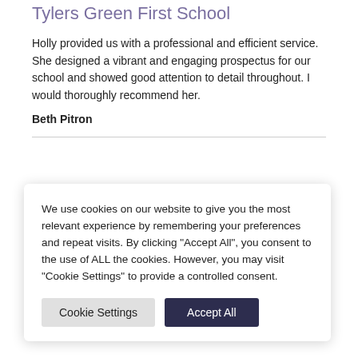Tylers Green First School
Holly provided us with a professional and efficient service. She designed a vibrant and engaging prospectus for our school and showed good attention to detail throughout. I would thoroughly recommend her.
Beth Pitron
We use cookies on our website to give you the most relevant experience by remembering your preferences and repeat visits. By clicking "Accept All", you consent to the use of ALL the cookies. However, you may visit "Cookie Settings" to provide a controlled consent.
rt services for the
. She has expertly
t we are all

Small Design to
osite or creating a

it's much